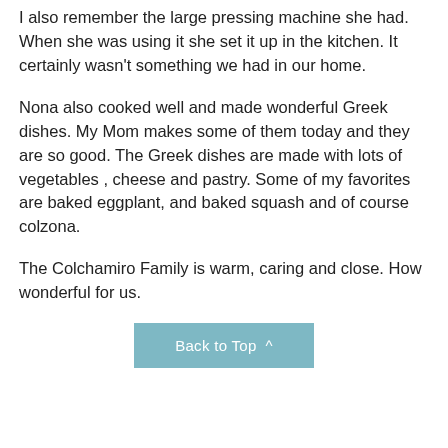I also remember the large pressing machine she had. When she was using it she set it up in the kitchen. It certainly wasn't something we had in our home.
Nona also cooked well and made wonderful Greek dishes. My Mom makes some of them today and they are so good. The Greek dishes are made with lots of vegetables , cheese and pastry. Some of my favorites are baked eggplant, and baked squash and of course colzona.
The Colchamiro Family is warm, caring and close. How wonderful for us.